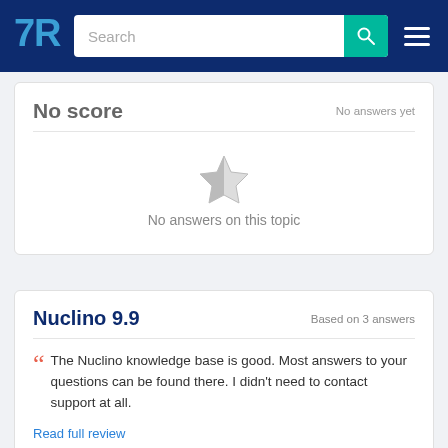TrustRadius — Search
No score
No answers yet
[Figure (illustration): Greyed-out half-star icon indicating no rating]
No answers on this topic
Nuclino 9.9
Based on 3 answers
The Nuclino knowledge base is good. Most answers to your questions can be found there. I didn't need to contact support at all.
Read full review